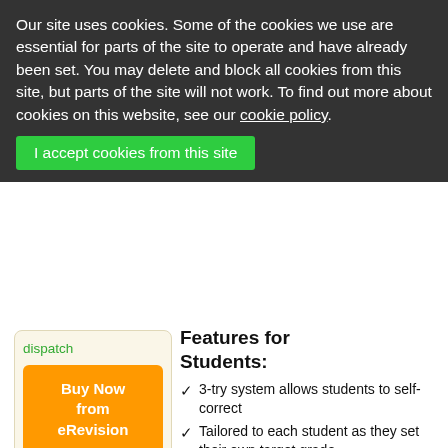Our site uses cookies. Some of the cookies we use are essential for parts of the site to operate and have already been set. You may delete and block all cookies from this site, but parts of the site will not work. To find out more about cookies on this website, see our cookie policy.
I accept cookies from this site
dispatch
Buy Now from eRevision
Features for Students:
3-try system allows students to self-correct
Tailored to each student as they set their own target grade
8 different interactive challenge types add huge novelty
Edexcel GCSE (9-1) Chemistry - eRevision: Free for 3 months! (FreeMe20)
web/11755